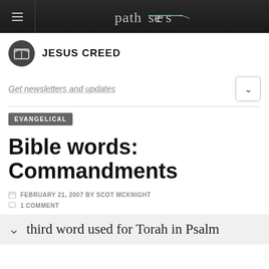patheos
JESUS CREED
Get newsletters and updates
EVANGELICAL
Bible words: Commandments
FEBRUARY 21, 2007 BY SCOT MCKNIGHT
1 COMMENT
third word used for Torah in Psalm